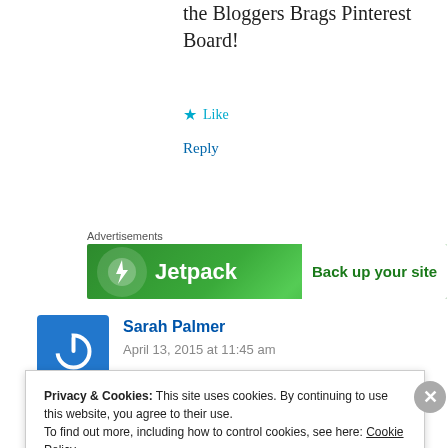the Bloggers Brags Pinterest Board!
★ Like
Reply
Advertisements
[Figure (screenshot): Jetpack ad banner: green background with Jetpack logo and text 'Back up your site']
Sarah Palmer
April 13, 2015 at 11:45 am
Privacy & Cookies: This site uses cookies. By continuing to use this website, you agree to their use.
To find out more, including how to control cookies, see here: Cookie Policy
Close and accept